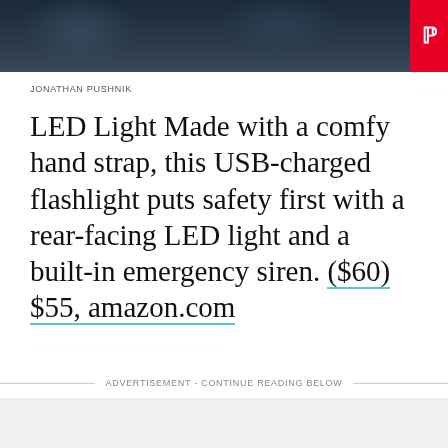[Figure (photo): Dark blue/grey toned photo of a person, partially visible at top of page]
JONATHAN PUSHNIK
LED Light Made with a comfy hand strap, this USB-charged flashlight puts safety first with a rear-facing LED light and a built-in emergency siren. ($60) $55, amazon.com
ADVERTISEMENT - CONTINUE READING BELOW